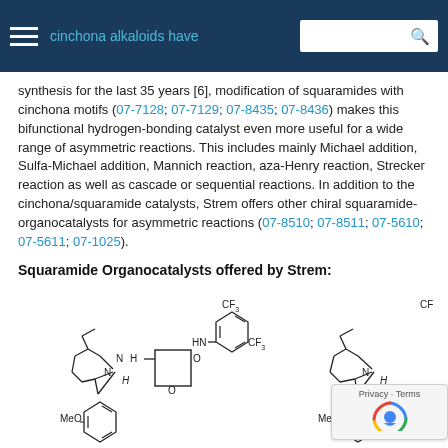Organocatalysis — cinchona alkaloids have
synthesis for the last 35 years [6], modification of squaramides with cinchona motifs (07-7128; 07-7129; 07-8435; 07-8436) makes this bifunctional hydrogen-bonding catalyst even more useful for a wide range of asymmetric reactions. This includes mainly Michael addition, Sulfa-Michael addition, Mannich reaction, aza-Henry reaction, Strecker reaction as well as cascade or sequential reactions. In addition to the cinchona/squaramide catalysts, Strem offers other chiral squaramide-organocatalysts for asymmetric reactions (07-8510; 07-8511; 07-5610; 07-5611; 07-1025).
Squaramide Organocatalysts offered by Strem:
[Figure (engineering-diagram): Chemical structure diagram of a cinchona squaramide organocatalyst showing MeO group, N-H, H-N linkages, CF3 groups on aromatic ring, and carbonyl groups (O), with a bicyclic quinuclidine framework.]